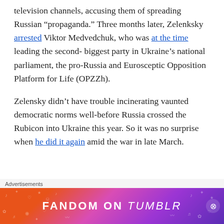television channels, accusing them of spreading Russian “propaganda.” Three months later, Zelenksky arrested Viktor Medvedchuk, who was at the time leading the second-biggest party in Ukraine’s national parliament, the pro-Russia and Eurosceptic Opposition Platform for Life (OPZZh).
Zelensky didn’t have trouble incinerating vaunted democratic norms well-before Russia crossed the Rubicon into Ukraine this year. So it was no surprise when he did it again amid the war in late March.
Advertisements
[Figure (other): Fandom on Tumblr advertisement banner with colorful gradient background (orange to purple) with decorative doodles and white text reading FANDOM ON tumblr]